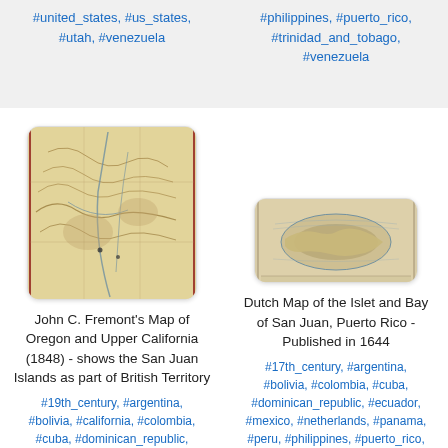#united_states, #us_states, #utah, #venezuela
#philippines, #puerto_rico, #trinidad_and_tobago, #venezuela
[Figure (map): John C. Fremont's Map of Oregon and Upper California (1848) - historical map showing western United States terrain]
John C. Fremont's Map of Oregon and Upper California (1848) - shows the San Juan Islands as part of British Territory
#19th_century, #argentina, #bolivia, #california, #colombia, #cuba, #dominican_republic,
[Figure (map): Dutch Map of the Islet and Bay of San Juan, Puerto Rico - Published in 1644]
Dutch Map of the Islet and Bay of San Juan, Puerto Rico - Published in 1644
#17th_century, #argentina, #bolivia, #colombia, #cuba, #dominican_republic, #ecuador, #mexico, #netherlands, #panama, #peru, #philippines, #puerto_rico,